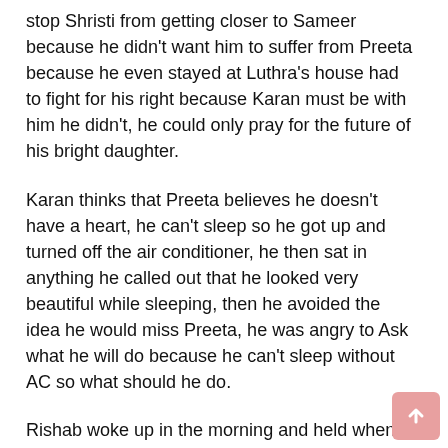stop Shristi from getting closer to Sameer because he didn't want him to suffer from Preeta because he even stayed at Luthra's house had to fight for his right because Karan must be with him he didn't, he could only pray for the future of his bright daughter.
Karan thinks that Preeta believes he doesn't have a heart, he can't sleep so he got up and turned off the air conditioner, he then sat in anything he called out that he looked very beautiful while sleeping, then he avoided the idea he would miss Preeta, he was angry to Ask what he will do because he can't sleep without AC so what should he do.
Rishab woke up in the morning and held when he was late, Sherlin came in the room immediately asked a lot of questions, he said that he had to let him wake up first and he could ask anyone to make coffee for him, he asked where he was all night, Sherlin Mentioned that he was with Mira, Rishab said that he should not be with Maira.